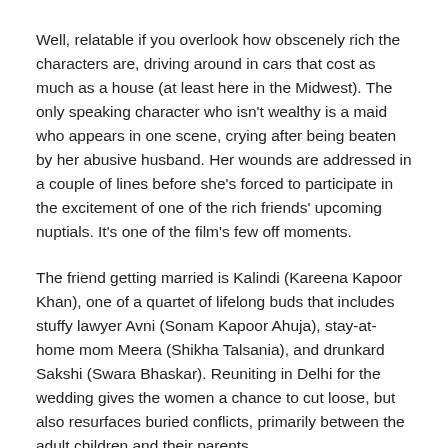Well, relatable if you overlook how obscenely rich the characters are, driving around in cars that cost as much as a house (at least here in the Midwest). The only speaking character who isn't wealthy is a maid who appears in one scene, crying after being beaten by her abusive husband. Her wounds are addressed in a couple of lines before she's forced to participate in the excitement of one of the rich friends' upcoming nuptials. It's one of the film's few off moments.
The friend getting married is Kalindi (Kareena Kapoor Khan), one of a quartet of lifelong buds that includes stuffy lawyer Avni (Sonam Kapoor Ahuja), stay-at-home mom Meera (Shikha Talsania), and drunkard Sakshi (Swara Bhaskar). Reuniting in Delhi for the wedding gives the women a chance to cut loose, but also resurfaces buried conflicts, primarily between the adult children and their parents.